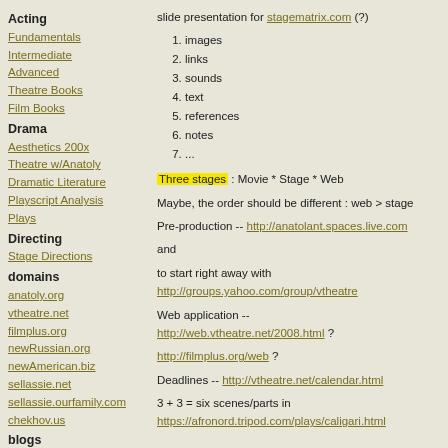Acting
Fundamentals
Intermediate
Advanced
Theatre Books
Film Books
Drama
Aesthetics 200x
Theatre w/Anatoly
Dramatic Literature
Playscript Analysis
Plays
Directing
Stage Directions
domains
anatoly.org
vtheatre.net
filmplus.org
newRussian.org
newAmerican.biz
sellassie.net
sellassie.ourfamily.com
chekhov.us
blogs
vtheatre
Anatoly XXI
Y360
all
slide presentation for stagematrix.com (?)
1. images
2. links
3. sounds
4. text
5. references
6. notes
7. ...
Three stages : Movie * Stage * Web
Maybe, the order should be different : web > stage
Pre-production -- http://anatolant.spaces.live.com
and
to start right away with
http://groups.yahoo.com/group/vtheatre
Web application --
http://web.vtheatre.net/2008.html ?
http://filmplus.org/web ?
Deadlines -- http://vtheatre.net/calendar.html
3 + 3 = six scenes/parts in
https://afronord.tripod.com/plays/caligari.html